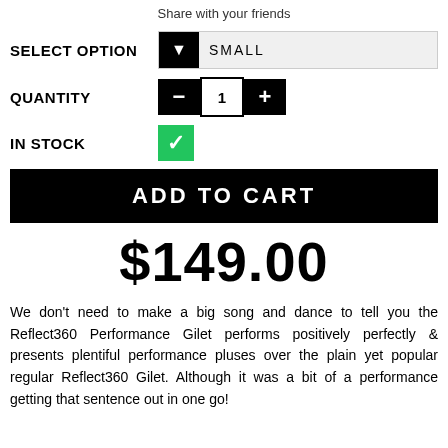Share with your friends
SELECT OPTION   SMALL
QUANTITY   1
IN STOCK
ADD TO CART
$149.00
We don't need to make a big song and dance to tell you the Reflect360 Performance Gilet performs positively perfectly & presents plentiful performance pluses over the plain yet popular regular Reflect360 Gilet. Although it was a bit of a performance getting that sentence out in one go!